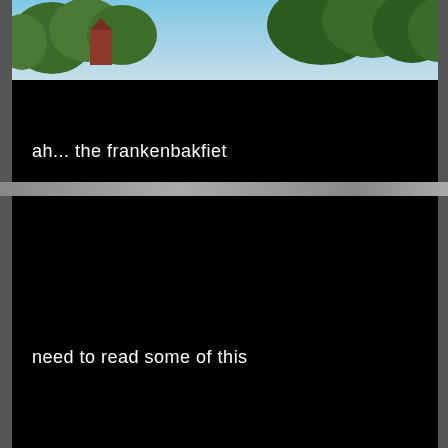[Figure (photo): Outdoor photo showing blue sky and green trees with a brick building partially visible on the left]
ah... the frankenbakfiet
need to read some of this